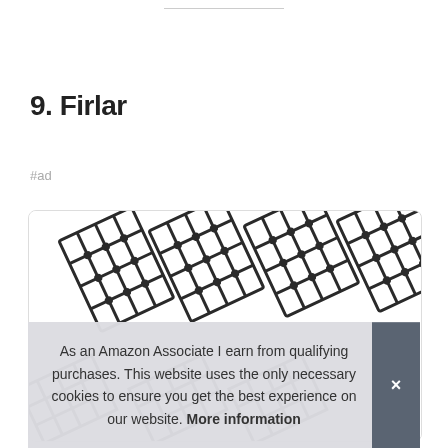9. Firlar
#ad
[Figure (illustration): A product card showing multiple diagonal trellis/lattice grid panels arranged in a row, dark brown/black colored wooden lattice frames.]
As an Amazon Associate I earn from qualifying purchases. This website uses the only necessary cookies to ensure you get the best experience on our website. More information